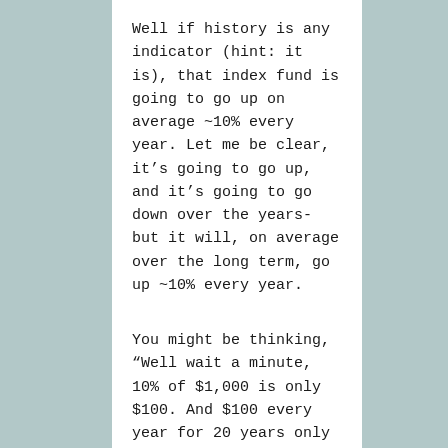Well if history is any indicator (hint: it is), that index fund is going to go up on average ~10% every year. Let me be clear, it's going to go up, and it's going to go down over the years- but it will, on average over the long term, go up ~10% every year.
You might be thinking, “Well wait a minute, 10% of $1,000 is only $100. And $100 every year for 20 years only equals $2,000. Are you lying to me Broadway Joe?!”